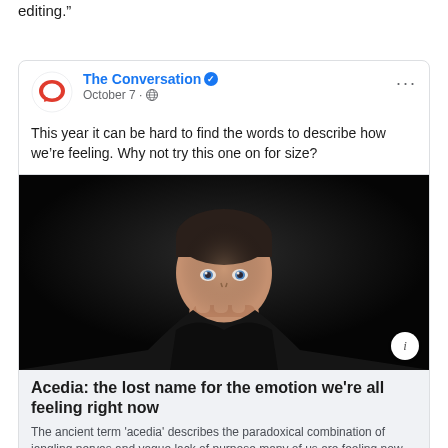editing.”
[Figure (screenshot): Facebook post by The Conversation (verified page), dated October 7, showing a dark photo of a man resting his chin on his fist with blue eyes. The post text reads: 'This year it can be hard to find the words to describe how we’re feeling. Why not try this one on for size?' with a linked article preview titled 'Acedia: the lost name for the emotion we're all feeling right now' from THECONVERSATION.COM]